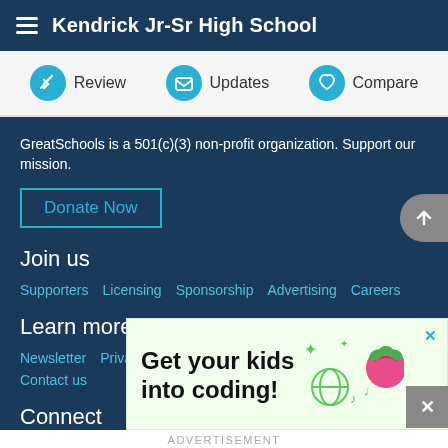Kendrick Jr-Sr High School
Review   Updates   Compare
GreatSchools is a 501(c)(3) non-profit organization. Support our mission.
Donate Now
Join us
Supporters   Licensing   Sponsorship   Advertising   Careers
Learn more
Newsletter   Privacy policy   Terms of use   About us   Contact us
Connect
[Figure (screenshot): Advertisement banner with light green background showing text 'Get your kids into coding!' with raspberry pi logo and coding icons]
ADVERTISEMENT